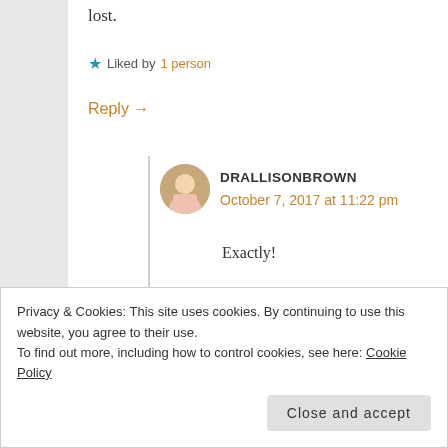lost.
★ Liked by 1 person
Reply →
DRALLISONBROWN
October 7, 2017 at 11:22 pm
Exactly!
★ Liked by 1 person
Privacy & Cookies: This site uses cookies. By continuing to use this website, you agree to their use.
To find out more, including how to control cookies, see here: Cookie Policy
Close and accept